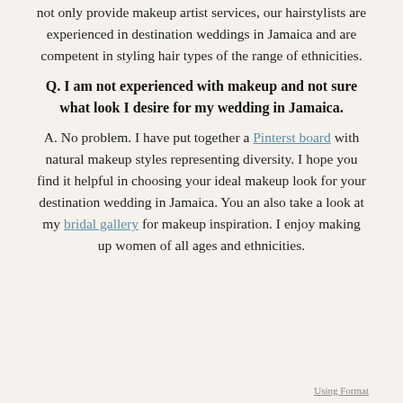not only provide makeup artist services, our hairstylists are experienced in destination weddings in Jamaica and are competent in styling hair types of the range of ethnicities.
Q. I am not experienced with makeup and not sure what look I desire for my wedding in Jamaica.
A. No problem. I have put together a Pinterst board with natural makeup styles representing diversity. I hope you find it helpful in choosing your ideal makeup look for your destination wedding in Jamaica. You an also take a look at my bridal gallery for makeup inspiration. I enjoy making up women of all ages and ethnicities.
Using Format